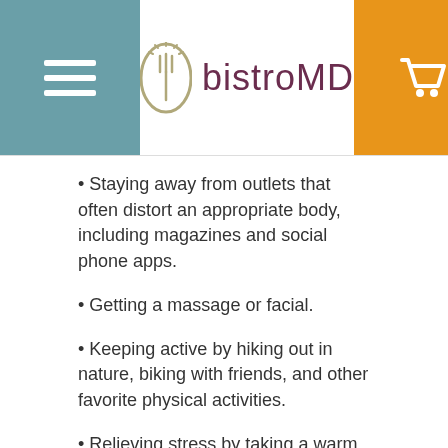bistroMD
Staying away from outlets that often distort an appropriate body, including magazines and social phone apps.
Getting a massage or facial.
Keeping active by hiking out in nature, biking with friends, and other favorite physical activities.
Relieving stress by taking a warm bath, journaling, or calling a family member.
Fortunately, "Binge eating disorder is probably the most treatable eating disorder," states Dr. Cederquist, "But it involves a multidisciplinary approach."